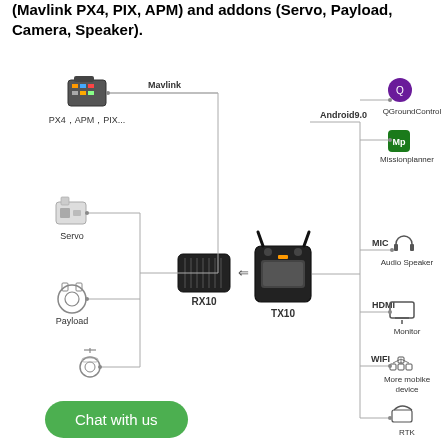(Mavlink PX4, PIX, APM) and addons (Servo, Payload, Camera, Speaker).
[Figure (schematic): System connection diagram showing RX10 receiver connected to flight controllers (PX4, APM, PIX via Mavlink), and accessories (Servo, Payload, Camera). RX10 communicates with TX10 transmitter which connects to Android 9.0 with QGroundControl and Missionplanner apps, plus MIC/Audio Speaker, HDMI Monitor, WIFI/More mobile device, and RTK.]